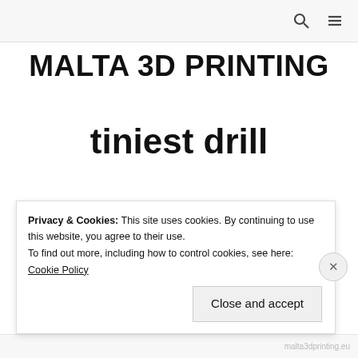MALTA 3D PRINTING
tiniest drill
Posted on 23/03/2015 by Malta 3D Printing
Another Unique Product Created by 3D Printing: The
Privacy & Cookies: This site uses cookies. By continuing to use this website, you agree to their use. To find out more, including how to control cookies, see here: Cookie Policy
Close and accept